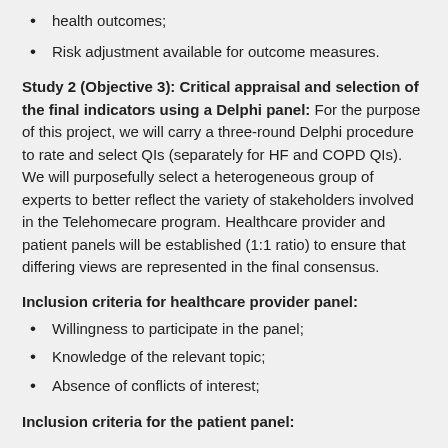health outcomes;
Risk adjustment available for outcome measures.
Study 2 (Objective 3): Critical appraisal and selection of the final indicators using a Delphi panel: For the purpose of this project, we will carry a three-round Delphi procedure to rate and select QIs (separately for HF and COPD QIs). We will purposefully select a heterogeneous group of experts to better reflect the variety of stakeholders involved in the Telehomecare program. Healthcare provider and patient panels will be established (1:1 ratio) to ensure that differing views are represented in the final consensus.
Inclusion criteria for healthcare provider panel:
Willingness to participate in the panel;
Knowledge of the relevant topic;
Absence of conflicts of interest;
Inclusion criteria for the patient panel: